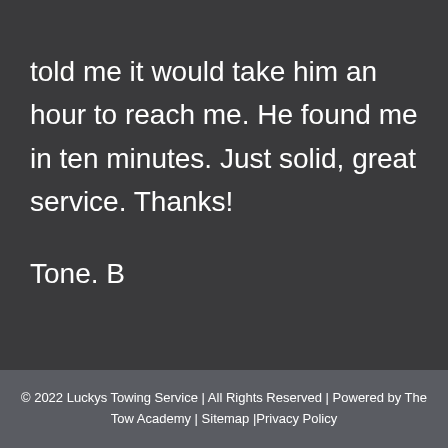told me it would take him an hour to reach me. He found me in ten minutes. Just solid, great service. Thanks!

Tone. B
© 2022 Luckys Towing Service | All Rights Reserved | Powered by The Tow Academy | Sitemap |Privacy Policy